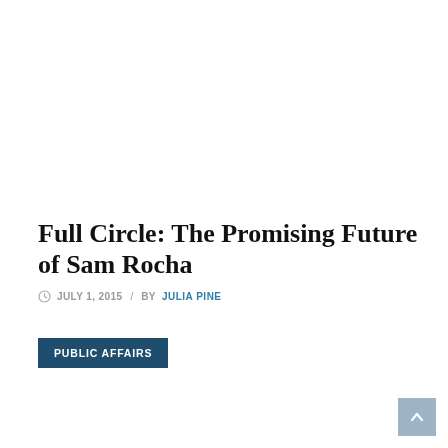Full Circle: The Promising Future of Sam Rocha
JULY 1, 2015  /  BY JULIA PINE
PUBLIC AFFAIRS